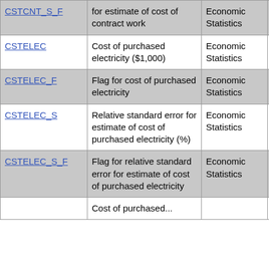| Variable | Description | Subject Area | Requirement |  |
| --- | --- | --- | --- | --- |
| CSTCNT_S_F | for estimate of cost of contract work | Economic Statistics | not required |  |
| CSTELEC | Cost of purchased electricity ($1,000) | Economic Statistics | not required |  |
| CSTELEC_F | Flag for cost of purchased electricity | Economic Statistics | not required |  |
| CSTELEC_S | Relative standard error for estimate of cost of purchased electricity (%) | Economic Statistics | not required |  |
| CSTELEC_S_F | Flag for relative standard error for estimate of cost of purchased electricity | Economic Statistics | not required |  |
|  | Cost of purchased... |  |  |  |